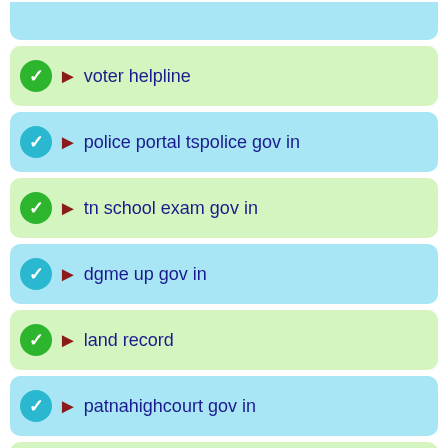voter helpline
police portal tspolice gov in
tn school exam gov in
dgme up gov in
land record
patnahighcourt gov in
wbpsc gov in
emis exam